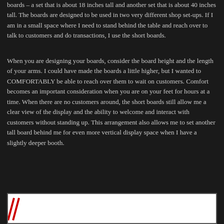boards – a set that is about 18 inches tall and another set that is about 40 inches tall. The boards are designed to be used in two very different shop set-ups. If I am in a small space where I need to stand behind the table and reach over to talk to customers and do transactions, I use the short boards.
When you are designing your boards, consider the board height and the length of your arms. I could have made the boards a little higher, but I wanted to COMFORTABLY be able to reach over them to wait on customers. Comfort becomes an important consideration when you are on your feet for hours at a time. When there are no customers around, the short boards still allow me a clear view of the display and the ability to welcome and interact with customers without standing up. This arrangement also allows me to set another tall board behind me for even more vertical display space when I have a slightly deeper booth.
[Figure (photo): Partial image of a display board setup, showing red diagonal slash marks on a white background, visible at the bottom of the page.]